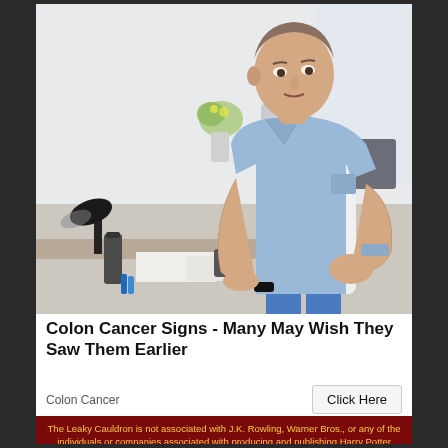[Figure (photo): Middle-aged man in a denim shirt clutching his abdomen in apparent pain, leaning forward in an office environment with a desk lamp, thermos, and papers in the foreground.]
Colon Cancer Signs - Many May Wish They Saw Them Earlier
Colon Cancer
Click Here
The Leaky Cauldron is not associated with J.K. Rowling, Warner Bros., or any of the individuals or companies associated with producing and publishing Harry Potter books and films.